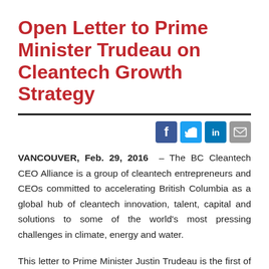Open Letter to Prime Minister Trudeau on Cleantech Growth Strategy
[Figure (other): Social media share icons: Facebook, Twitter, LinkedIn, Email]
VANCOUVER, Feb. 29, 2016 – The BC Cleantech CEO Alliance is a group of cleantech entrepreneurs and CEOs committed to accelerating British Columbia as a global hub of cleantech innovation, talent, capital and solutions to some of the world's most pressing challenges in climate, energy and water.
This letter to Prime Minister Justin Trudeau is the first of its kind, uniting over 50 CEOs in a call to